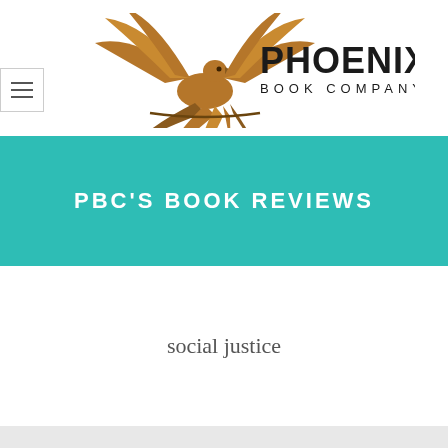[Figure (logo): Phoenix Book Company logo with golden phoenix bird and bold text 'PHOENIX BOOK COMPANY']
PBC'S BOOK REVIEWS
social justice